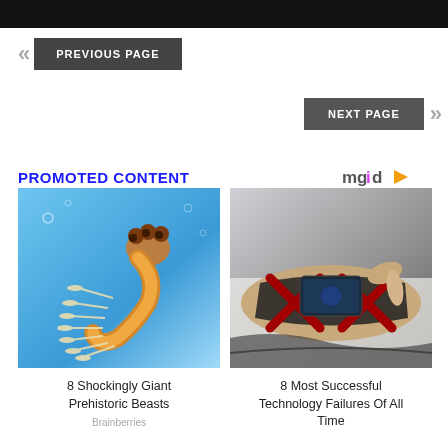[Figure (screenshot): Black navigation bar at top of webpage]
« PREVIOUS PAGE
NEXT PAGE »
PROMOTED CONTENT
[Figure (logo): mgid logo with play button arrow]
[Figure (photo): Illustration of a prehistoric marine creature in blue water with spikes and curling body]
8 Shockingly Giant Prehistoric Beasts
Brainberries
[Figure (photo): Person's arm with a futuristic wearable tech device strapped to forearm, being touched by a finger]
8 Most Successful Technology Failures Of All Time